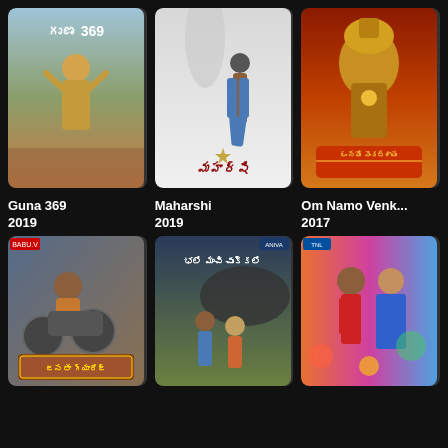[Figure (photo): Movie poster for Guna 369 (2019) - shows a muscular figure with hands behind head]
[Figure (photo): Movie poster for Maharshi (2019) - shows actor walking on road with silhouette]
[Figure (photo): Movie poster for Om Namo Venkateshaya (2017) - shows deity with orange/golden background]
Guna 369
2019
Maharshi
2019
Om Namo Venk...
2017
[Figure (photo): Movie poster for Janatha Garage - shows actor on motorcycle]
[Figure (photo): Movie poster with Telugu text showing action scene]
[Figure (photo): Movie poster showing couple in colorful setting]